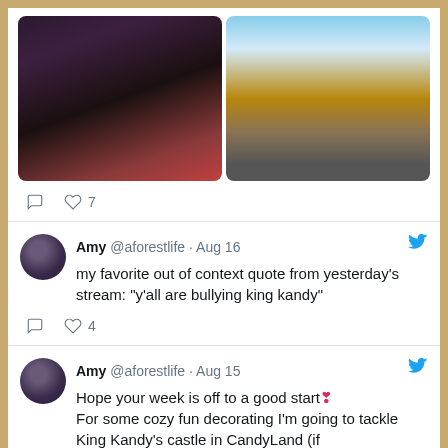[Figure (screenshot): Two photos side by side: a selfie of a young woman with dark makeup and a plaid jacket, and a cartoon/illustrated cityscape scene]
7
Amy @aforestlife · Aug 16
my favorite out of context quote from yesterday's stream: "y'all are bullying king kandy"
4
Amy @aforestlife · Aug 15
Hope your week is off to a good start❣
For some cozy fun decorating I'm going to tackle King Kandy's castle in CandyLand (if